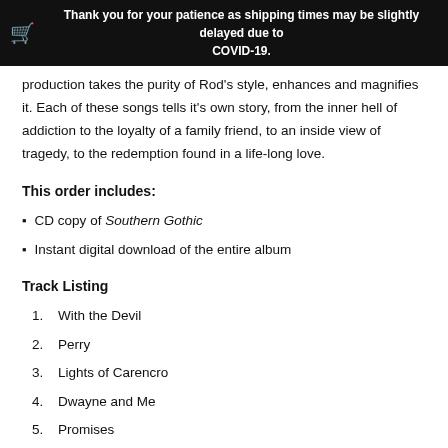Thank you for your patience as shipping times may be slightly delayed due to COVID-19.
production takes the purity of Rod's style, enhances and magnifies it. Each of these songs tells it's own story, from the inner hell of addiction to the loyalty of a family friend, to an inside view of tragedy, to the redemption found in a life-long love.
This order includes:
CD copy of Southern Gothic
Instant digital download of the entire album
Track Listing
1. With the Devil
2. Perry
3. Lights of Carencro
4. Dwayne and Me
5. Promises